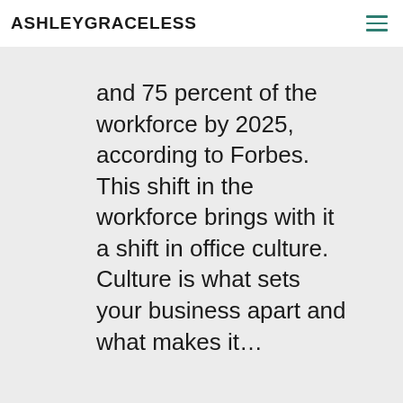ASHLEYGRACELESS
and 75 percent of the workforce by 2025, according to Forbes. This shift in the workforce brings with it a shift in office culture. Culture is what sets your business apart and what makes it…